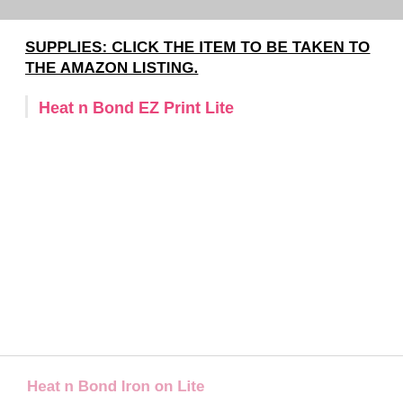[Figure (photo): Gray image bar at the top of the page]
SUPPLIES: CLICK THE ITEM TO BE TAKEN TO THE AMAZON LISTING.
Heat n Bond EZ Print Lite
Heat n Bond Iron on Lite